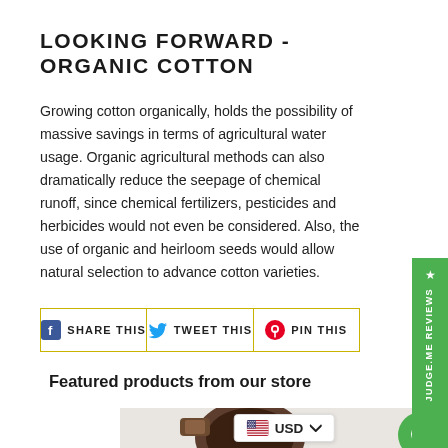LOOKING FORWARD - ORGANIC COTTON
Growing cotton organically, holds the possibility of massive savings in terms of agricultural water usage. Organic agricultural methods can also dramatically reduce the seepage of chemical runoff, since chemical fertilizers, pesticides and herbicides would not even be considered. Also, the use of organic and heirloom seeds would allow natural selection to advance cotton varieties.
[Figure (other): Social share buttons row: SHARE THIS (Facebook), TWEET THIS (Twitter), PIN THIS (Pinterest)]
Featured products from our store
[Figure (photo): Product photo of a dark brown wooden/metal watch on a light grey background, with a USD currency selector bar overlay and a green chat bubble icon in the bottom right]
[Figure (other): Judge.me Reviews vertical green sidebar tab with star icon and text reading JUDGE.ME REVIEWS]